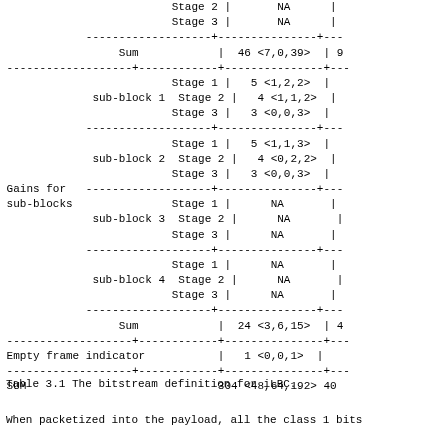| Field | Sub-block | Stage | Value | More |
| --- | --- | --- | --- | --- |
|  | sub-block 4 | Stage 2 | NA |  |
|  |  | Stage 3 | NA |  |
|  | Sum |  | 46 <7,0,39> | 9 |
|  | sub-block 1 | Stage 1 | 5 <1,2,2> |  |
|  |  | Stage 2 | 4 <1,1,2> |  |
|  |  | Stage 3 | 3 <0,0,3> |  |
|  | sub-block 2 | Stage 1 | 5 <1,1,3> |  |
|  |  | Stage 2 | 4 <0,2,2> |  |
|  |  | Stage 3 | 3 <0,0,3> |  |
| Gains for sub-blocks | sub-block 3 | Stage 1 | NA |  |
|  |  | Stage 2 | NA |  |
|  |  | Stage 3 | NA |  |
|  | sub-block 4 | Stage 1 | NA |  |
|  |  | Stage 2 | NA |  |
|  |  | Stage 3 | NA |  |
|  | Sum |  | 24 <3,6,15> | 4 |
| Empty frame indicator |  |  | 1 <0,0,1> |  |
| SUM |  |  | 304 <48,64,192> | 40 |
Table 3.1 The bitstream definition for iLBC.
When packetized into the payload, all the class 1 bits